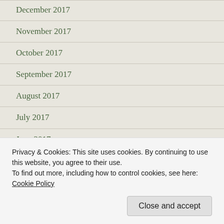December 2017
November 2017
October 2017
September 2017
August 2017
July 2017
June 2017
May 2017
April 2017
March 2017
Privacy & Cookies: This site uses cookies. By continuing to use this website, you agree to their use.
To find out more, including how to control cookies, see here: Cookie Policy
Close and accept